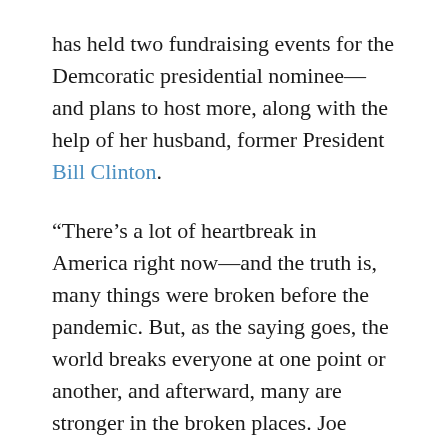has held two fundraising events for the Demcoratic presidential nominee—and plans to host more, along with the help of her husband, former President Bill Clinton.
“There’s a lot of heartbreak in America right now—and the truth is, many things were broken before the pandemic. But, as the saying goes, the world breaks everyone at one point or another, and afterward, many are stronger in the broken places. Joe Biden knows how to heal because he’s done it himself,” she said, concluding her speech.
Rachel Bucchino is a reporter at the National